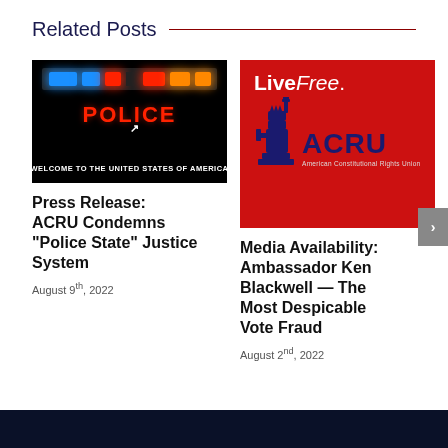Related Posts
[Figure (photo): Police car lights bar at night with text POLICE and WELCOME TO THE UNITED STATES OF AMERICA]
Press Release: ACRU Condemns “Police State” Justice System
August 9th, 2022
[Figure (logo): LiveFree. ACRU American Constitutional Rights Union logo on red background with Statue of Liberty silhouette]
Media Availability: Ambassador Ken Blackwell — The Most Despicable Vote Fraud
August 2nd, 2022